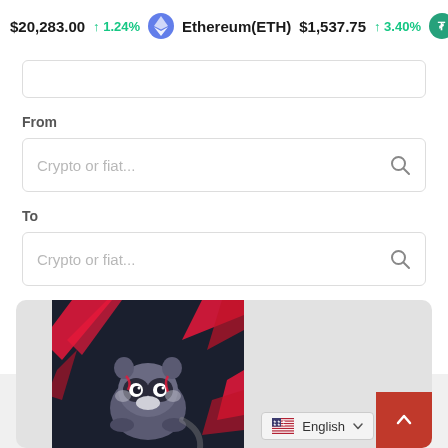$20,283.00 ↑1.24% Ethereum(ETH) $1,537.75 ↑3.40% Tet
From
Crypto or fiat...
To
Crypto or fiat...
CONVERT
[Figure (screenshot): Dark-themed banner with raccoon mascot logo and red lightning bolt accents on black background]
English